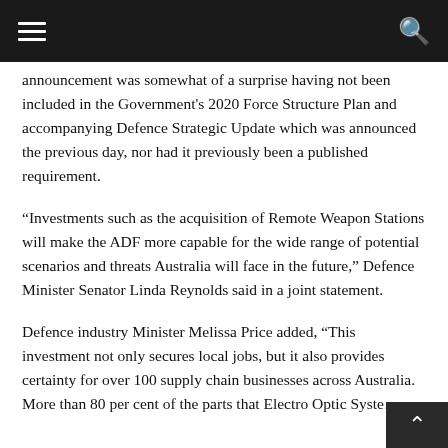announcement was somewhat of a surprise having not been included in the Government's 2020 Force Structure Plan and accompanying Defence Strategic Update which was announced the previous day, nor had it previously been a published requirement.
“Investments such as the acquisition of Remote Weapon Stations will make the ADF more capable for the wide range of potential scenarios and threats Australia will face in the future,” Defence Minister Senator Linda Reynolds said in a joint statement.
Defence industry Minister Melissa Price added, “This investment not only secures local jobs, but it also provides certainty for over 100 supply chain businesses across Australia. More than 80 per cent of the parts that Electro Optic System